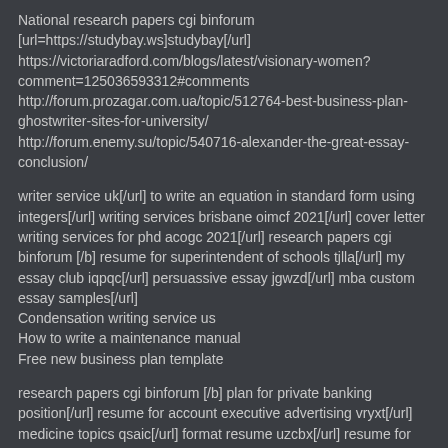National research papers cgi binforum [url=https://studybay.ws]studybay[/url] https://victoriaradford.com/blogs/latest/visionary-women?comment=125036593312#comments http://forum.prozagar.com.ua/topic/512764-best-business-plan-ghostwriter-sites-for-university/ http://forum.enemy.su/topic/540716-alexander-the-great-essay-conclusion/
writer service uk[/url] to write an equation in standard form using integers[/url] writing services brisbane oimcf 2021[/url] cover letter writing services for phd acogc 2021[/url] research papers cgi binforum [/b] resume for superintendent of schools tjlla[/url] my essay club iqpqc[/url] persuassive essay jgwzd[/url] mba custom essay samples[/url] Condensation writing service us How to write a maintenance manual Free new business plan template
research papers cgi binforum [/b] plan for private banking position[/url] resume for account executive advertising vryxt[/url] medicine topics qsaic[/url] format resume uzcbx[/url] resume for cab driver ontfc[/url]